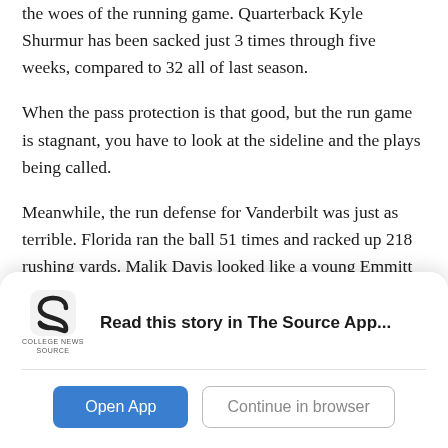the woes of the running game. Quarterback Kyle Shurmur has been sacked just 3 times through five weeks, compared to 32 all of last season.
When the pass protection is that good, but the run game is stagnant, you have to look at the sideline and the plays being called.
Meanwhile, the run defense for Vanderbilt was just as terrible. Florida ran the ball 51 times and racked up 218 rushing yards. Malik Davis looked like a young Emmitt Smith out there.
It shouldn’t have been surprising that Florida was going to
[Figure (logo): College News Source logo — stylized 'S' shape in dark gray/black]
Read this story in The Source App...
Open App
Continue in browser